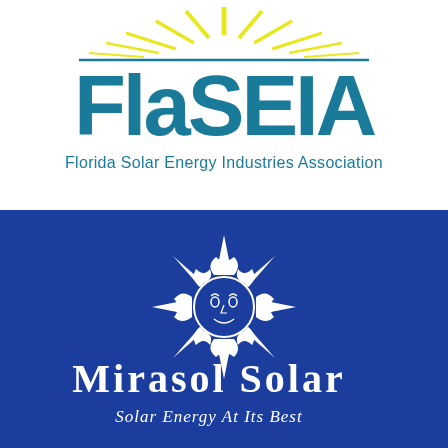[Figure (logo): FlaSEIA logo: yellow sun rays above blue text reading FlaSEIA with subtitle Florida Solar Energy Industries Association]
[Figure (logo): Mirasol Solar logo on dark blue background: white decorative sun face with rays, company name Mirasol Solar and tagline Solar Energy At Its Best]